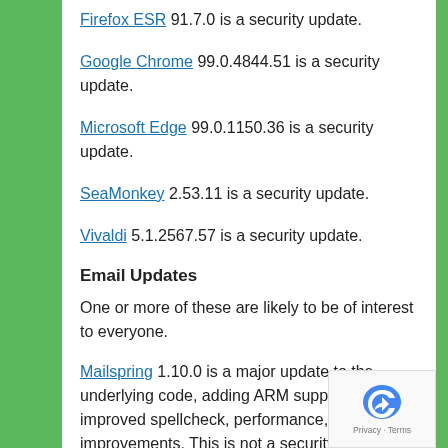Firefox ESR 91.7.0 is a security update.
Google Chrome 99.0.4844.51 is a security update.
Microsoft Edge 99.0.1150.36 is a security update.
SeaMonkey 2.53.11 is a security update.
Vivaldi 5.1.2567.57 is a security update.
Email Updates
One or more of these are likely to be of interest to everyone.
Mailspring 1.10.0 is a major update to the underlying code, adding ARM support, improved spellcheck, performance, and port improvements. This is not a security update.
Thunderbird 91.6.2 is a security update.